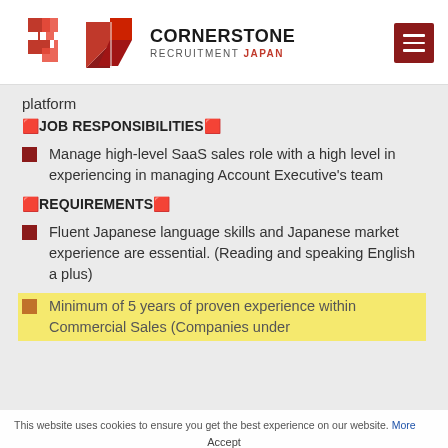[Figure (logo): Cornerstone Recruitment Japan logo with red angular chevron icon and company name text]
platform
🟥JOB RESPONSIBILITIES🟥
Manage high-level SaaS sales role with a high level in experiencing in managing Account Executive's team
🟥REQUIREMENTS🟥
Fluent Japanese language skills and Japanese market experience are essential. (Reading and speaking English a plus)
Minimum of 5 years of proven experience within Commercial Sales (Companies under
This website uses cookies to ensure you get the best experience on our website. More  Accept